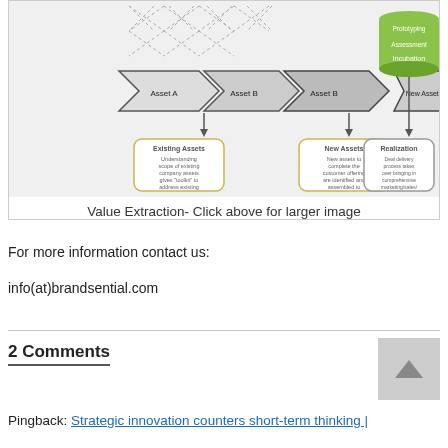[Figure (flowchart): Value Extraction diagram showing workflow with Existing Assets (Asset A, Asset B), New Assets, and Incubation/Prototyping/Assessment stages with Realization. Contains dashed network at top, arrow shapes labeled Asset A, Asset B, Asset B, New Assets, and a green cylindrical shape for Incubation. Below are three rounded rectangle text boxes: Existing Assets, New Assets, and Realization.]
Value Extraction- Click above for larger image
For more information contact us:
info(at)brandsential.com
2 Comments
Pingback: Strategic innovation counters short-term thinking |